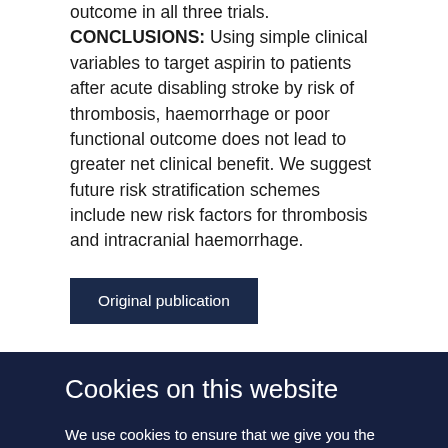outcome in all three trials. CONCLUSIONS: Using simple clinical variables to target aspirin to patients after acute disabling stroke by risk of thrombosis, haemorrhage or poor functional outcome does not lead to greater net clinical benefit. We suggest future risk stratification schemes include new risk factors for thrombosis and intracranial haemorrhage.
Original publication
Cookies on this website
We use cookies to ensure that we give you the best experience on our website. If you click 'Accept all cookies' we'll assume that you are happy to receive all cookies and you won't see this message again. If you click 'Reject all non-essential cookies' only necessary cookies providing core functionality such as security, network management, and accessibility will be enabled. Click 'Find out more' for information about how to change your cookie settings.